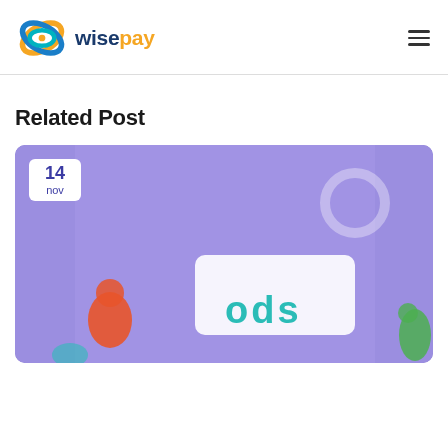[Figure (logo): WisePay logo with an infinity/knot symbol in blue, orange, and teal colors, followed by the text 'wisepay' where 'wise' is dark navy and 'pay' is orange]
[Figure (other): Hamburger menu icon (three horizontal lines) at the top right]
Related Post
[Figure (illustration): Purple banner card showing a date badge '14 nov' in white box, decorative circle outline, and a partial illustration of a document/sign with 'ods' text visible in teal, with colorful character illustrations at the bottom left and right (green and orange/red)]